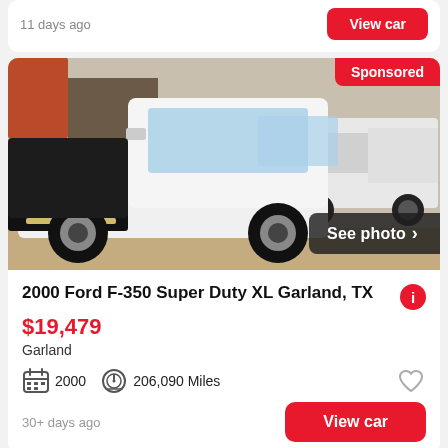11 days ago
View car
[Figure (photo): White 2000 Ford F-350 Super Duty XL truck with aftermarket front grille guard and large off-road tires, photographed outdoors in a lot. Red 'Sponsored' badge top right and 'See photo >' overlay bottom right.]
2000 Ford F-350 Super Duty XL Garland, TX
$19,479
Garland
2000
206,090 Miles
30+ days ago
View car